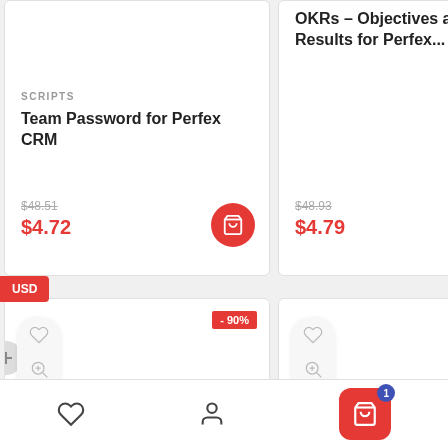OKRs – Objectives and Key Results for Perfex...
SCRIPTS
Team Password for Perfex CRM
$48.51 (strikethrough) $4.72
$48.93 (strikethrough) $4.79
USD
- 90%
BEST VALUE
1 (cart badge)